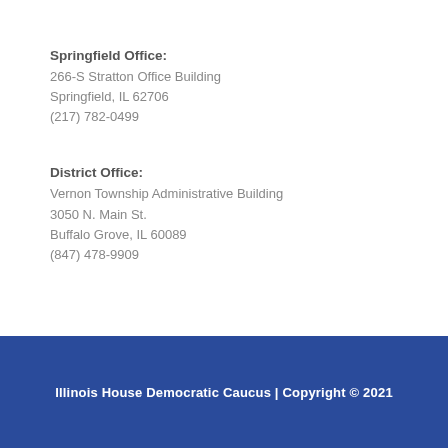Springfield Office:
266-S Stratton Office Building
Springfield, IL 62706
(217) 782-0499
District Office:
Vernon Township Administrative Building
3050 N. Main St.
Buffalo Grove, IL 60089
(847) 478-9909
Illinois House Democratic Caucus | Copyright © 2021